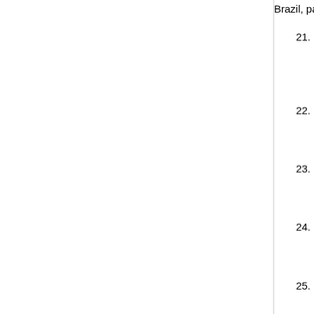Brazil, pages 17--30, June 2007. [P...
21. E. Fusy and F. Giroire. Estimating t... David Appelgate, editor, Proceedings... the Fourth Workshop on Analytic Alg... Note: Proceedings of the New Orlea...
22. J. Galtier. Analysis and optimizatio... Second International Conference on... French Riviera, France, pages 6p, A...
23. C. Gomes and G. Huiban. Multiobje... on Modeling, Analysis, and Simulatio... 103--108, October 2007. Bogazici U...
24. C. Gomes, C. Molle, P. Reyes, and ... 22nd European Conference on Ope... [bibtex-entry]
25. C. Gomes, C. Molle, P. Reyes, and ... radio maillés. In Neuvièmes Renco... Télécommunications (AlgoTel'07), Il... [bibtex-entry]
26. F. Havet, J. van den Heuvel, C. McD... European Conference on Combina...